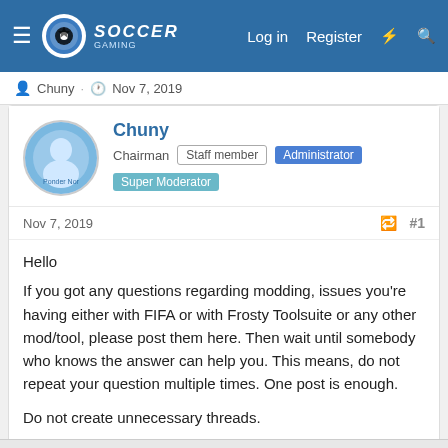Soccer Gaming — Log in  Register
Chuny · Nov 7, 2019
Chuny
Chairman  Staff member  Administrator  Super Moderator
Nov 7, 2019  #1
Hello
If you got any questions regarding modding, issues you're having either with FIFA or with Frosty Toolsuite or any other mod/tool, please post them here. Then wait until somebody who knows the answer can help you. This means, do not repeat your question multiple times. One post is enough.

Do not create unnecessary threads.

Thanks.